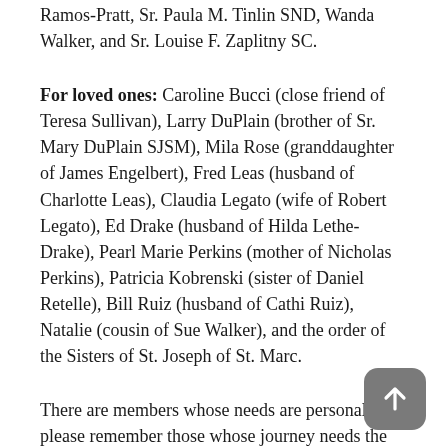Ramos-Pratt, Sr. Paula M. Tinlin SND, Wanda Walker, and Sr. Louise F. Zaplitny SC.
For loved ones: Caroline Bucci (close friend of Teresa Sullivan), Larry DuPlain (brother of Sr. Mary DuPlain SJSM), Mila Rose (granddaughter of James Engelbert), Fred Leas (husband of Charlotte Leas), Claudia Legato (wife of Robert Legato), Ed Drake (husband of Hilda Lethe-Drake), Pearl Marie Perkins (mother of Nicholas Perkins), Patricia Kobrenski (sister of Daniel Retelle), Bill Ruiz (husband of Cathi Ruiz), Natalie (cousin of Sue Walker), and the order of the Sisters of St. Joseph of St. Marc.
There are members whose needs are personal; please remember those whose journey needs the